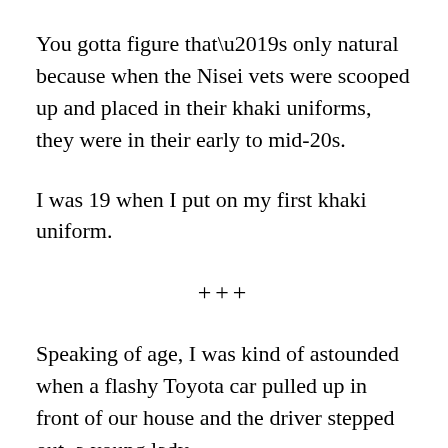You gotta figure that’s only natural because when the Nisei vets were scooped up and placed in their khaki uniforms, they were in their early to mid-20s.
I was 19 when I put on my first khaki uniform.
+++
Speaking of age, I was kind of astounded when a flashy Toyota car pulled up in front of our house and the driver stepped out, a young lady.